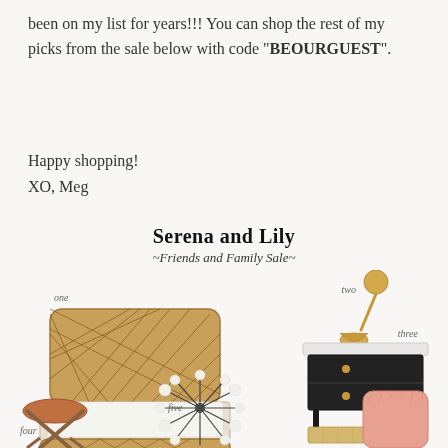been on my list for years!!! You can shop the rest of my picks from the sale below with code "BEOURGUEST".
Happy shopping!
XO, Meg
Serena and Lily
~Friends and Family Sale~
[Figure (photo): Collage of Serena and Lily products numbered one through six: (one) rattan sleigh bed, (two) gold wall sconce, (three) black nightstand with cane shelf, (four) leather folding stool, (five) sputnik chandelier, (six) pink fuzzy item]